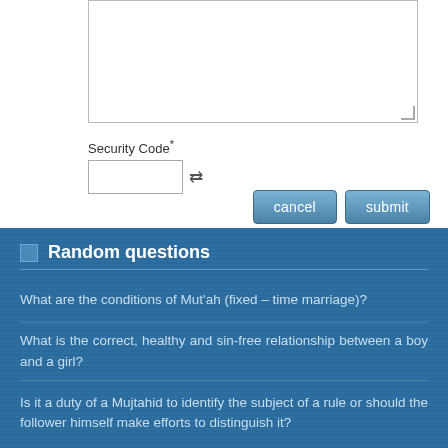[Figure (screenshot): Textarea input box (form element)]
Security Code*
[Figure (screenshot): Security code input field with refresh icon]
[Figure (screenshot): Cancel and Submit buttons]
Random questions
What are the conditions of Mut'ah (fixed – time marriage)?
What is the correct, healthy and sin-free relationship between a boy and a girl?
Is it a duty of a Mujtahid to identify the subject of a rule or should the follower himself make efforts to distinguish it?